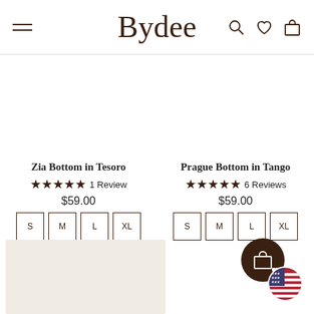Bydee
Zia Bottom in Tesoro
★★★★★ 1 Review
$59.00
S M L XL
Prague Bottom in Tango
★★★★★ 6 Reviews
$59.00
S M L XL
[Figure (photo): Product image placeholder for second row item on left]
[Figure (illustration): Shopping bag cart FAB button with heart icon and US flag badge in bottom right corner]